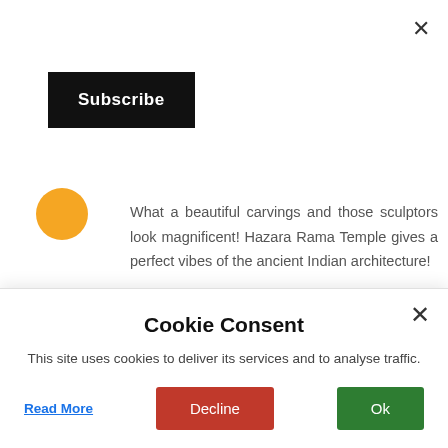[Figure (other): Close (X) button top right corner]
[Figure (other): Black Subscribe button top left]
[Figure (other): Orange circular avatar icon]
What a beautiful carvings and those sculptors look magnificent! Hazara Rama Temple gives a perfect vibes of the ancient Indian architecture!
[Figure (other): Red REPLY button]
Tracy    March 22, 2017 at 11:24 AM
[Figure (other): Cookie Consent modal overlay with title, description, Read More link, Decline and Ok buttons]
Unknown    March 24, 2017 at 12:20 AM